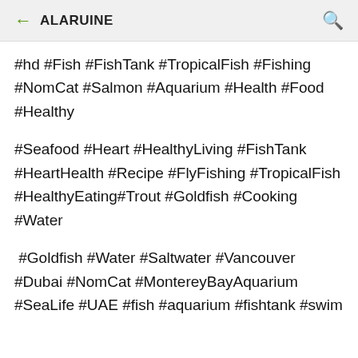ALARUINE
#hd #Fish #FishTank #TropicalFish #Fishing #NomCat #Salmon #Aquarium #Health #Food #Healthy
#Seafood #Heart #HealthyLiving #FishTank #HeartHealth #Recipe #FlyFishing #TropicalFish #HealthyEating#Trout #Goldfish #Cooking #Water
#Goldfish #Water #Saltwater #Vancouver #Dubai #NomCat #MontereyBayAquarium #SeaLife #UAE #fish #aquarium #fishtank #swim